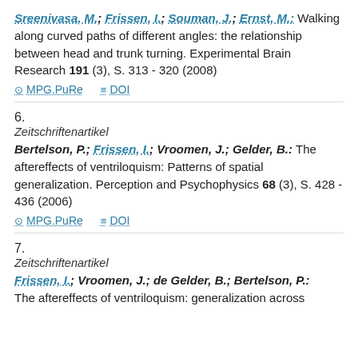Sreenivasa, M.; Frissen, I.; Souman, J.; Ernst, M.: Walking along curved paths of different angles: the relationship between head and trunk turning. Experimental Brain Research 191 (3), S. 313 - 320 (2008)
MPG.PuRe   DOI
6.
Zeitschriftenartikel
Bertelson, P.; Frissen, I.; Vroomen, J.; Gelder, B.: The aftereffects of ventriloquism: Patterns of spatial generalization. Perception and Psychophysics 68 (3), S. 428 - 436 (2006)
MPG.PuRe   DOI
7.
Zeitschriftenartikel
Frissen, I.; Vroomen, J.; de Gelder, B.; Bertelson, P.: The aftereffects of ventriloquism: generalization across